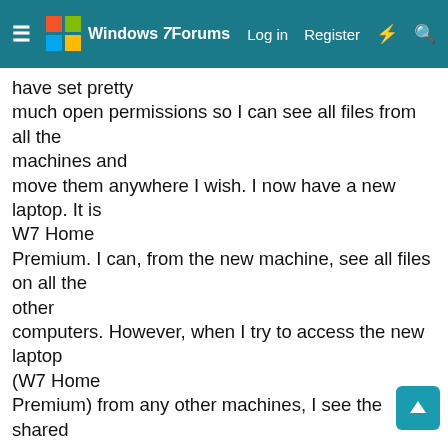Windows 7 Forums — Log in | Register
have set pretty much open permissions so I can see all files from all the machines and move them anywhere I wish. I now have a new laptop. It is W7 Home Premium. I can, from the new machine, see all files on all the other computers. However, when I try to access the new laptop (W7 Home Premium) from any other machines, I see the shared directories, but can only access the 'Users Share' directory containing 'Default' and 'Public' directories. I can see the c directory and another directory, but when I double click on it, I get the message "Windows cannot access \\Delllt\c You do not have permission to access \\Delllt\c... But, I do